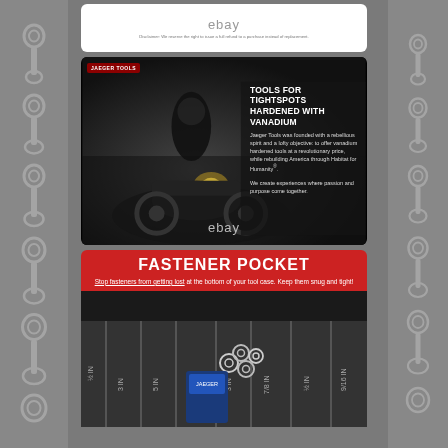[Figure (screenshot): eBay listing top card with eBay logo and disclaimer text: Disclaimer: We reserve the right to issue a full refund to a purchase instead of replacement]
[Figure (photo): Jaeger Tools promotional card showing motorcyclist in black and white. Text overlay: TOOLS FOR TIGHTSPOTS HARDENED WITH VANADIUM. Body text describes Jaeger Tools mission. eBay watermark at bottom.]
[Figure (infographic): Fastener Pocket promotional card with red header. Header text: FASTENER POCKET. Subtext: Stop fasteners from getting lost at the bottom of your tool case. Keep them snug and tight! Below shows a tool roll/organizer with labeled pockets.]